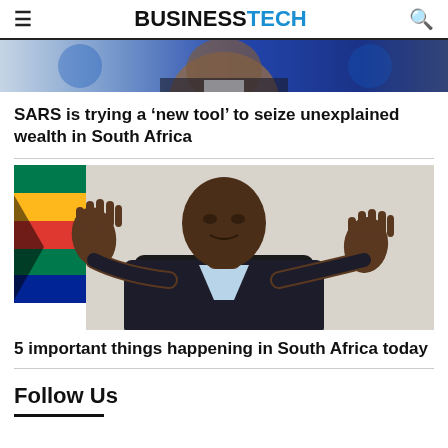BUSINESSTECH
[Figure (photo): Cropped top portion of a person's head and shoulders, partially visible at the top of the page]
SARS is trying a ‘new tool’ to seize unexplained wealth in South Africa
[Figure (photo): A man in a dark suit with both hands raised, palms facing forward, seated at a desk. South African flag visible in background.]
5 important things happening in South Africa today
Follow Us